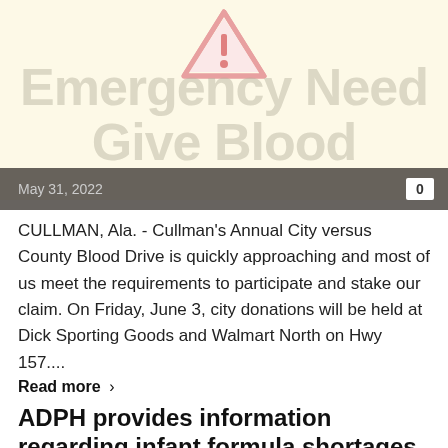[Figure (illustration): Red/pink warning triangle with exclamation mark icon on cream/yellow background, with large watermark text 'Emergency Need Give Blood']
May 31, 2022  0
CULLMAN, Ala. - Cullman's Annual City versus County Blood Drive is quickly approaching and most of us meet the requirements to participate and stake our claim. On Friday, June 3, city donations will be held at Dick Sporting Goods and Walmart North on Hwy 157....
Read more >
ADPH provides information regarding infant formula shortages